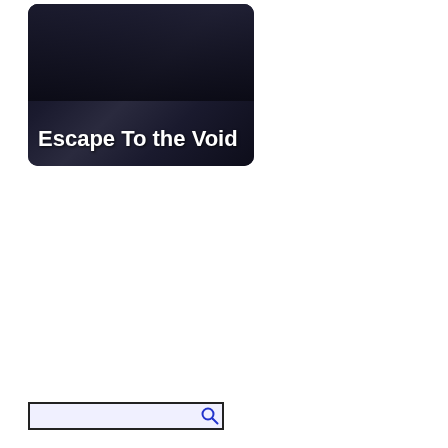[Figure (screenshot): Thumbnail card with dark background showing title 'Escape To the Void' in white bold text]
[Figure (screenshot): Thumbnail card with grey background and blue triangle/arrow graphic showing title 'Dark Elves of the Culture War' in white bold text on blue banner]
[Figure (screenshot): Search bar with magnifying glass icon at bottom left of page]